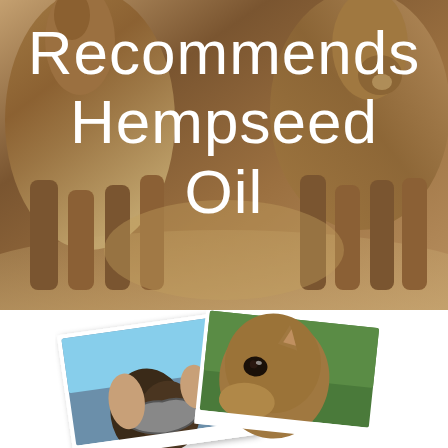[Figure (photo): Two horses running close together, photographed from front/low angle showing their legs, faces and muzzles against a sandy/brown blurred background]
Recommends Hempseed Oil
[Figure (photo): Two overlapping Polaroid-style photos of horses: left photo shows a person examining a horse hoof/horseshoe; right photo shows a close-up of a horse face/eye]